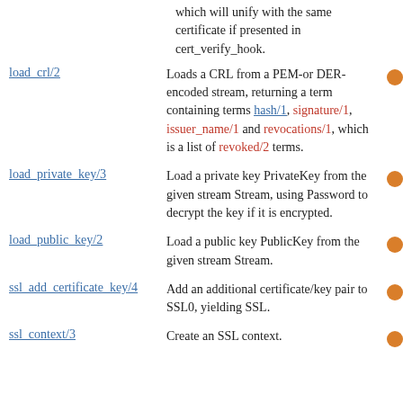which will unify with the same certificate if presented in cert_verify_hook.
load_crl/2 — Loads a CRL from a PEM- or DER-encoded stream, returning a term containing terms hash/1, signature/1, issuer_name/1 and revocations/1, which is a list of revoked/2 terms.
load_private_key/3 — Load a private key PrivateKey from the given stream Stream, using Password to decrypt the key if it is encrypted.
load_public_key/2 — Load a public key PublicKey from the given stream Stream.
ssl_add_certificate_key/4 — Add an additional certificate/key pair to SSL0, yielding SSL.
ssl_context/3 — Create an SSL context.